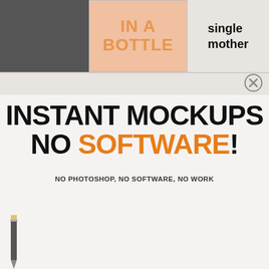[Figure (screenshot): Top strip showing partial book cover with orange text 'IN A BOTTLE' on peach/salmon background, plus dark book on left]
single mother
[Figure (infographic): Close/dismiss button (X in circle)]
INSTANT MOCKUPS NO SOFTWARE!
NO PHOTOSHOP, NO SOFTWARE, NO WORK
[Figure (infographic): FREE badge (orange diagonal ribbon with FREE text) and three book mockup images showing 'PUT YOUR BOOK COVER' placeholder designs on spiral notebook, tablet, and hardcover book formats, each with AUTHOR NAME bar at bottom]